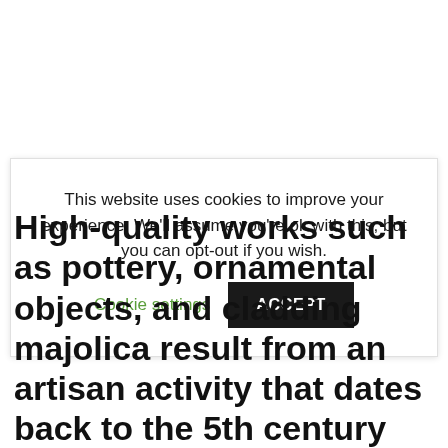This website uses cookies to improve your experience. We'll assume you're ok with this, but you can opt-out if you wish.  Cookie settings  ACCEPT
High-quality works such as pottery, ornamental objects, and cladding majolica result from an artisan activity that dates back to the 5th century